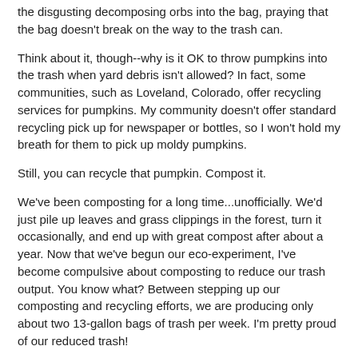the disgusting decomposing orbs into the bag, praying that the bag doesn't break on the way to the trash can.
Think about it, though--why is it OK to throw pumpkins into the trash when yard debris isn't allowed? In fact, some communities, such as Loveland, Colorado, offer recycling services for pumpkins. My community doesn't offer standard recycling pick up for newspaper or bottles, so I won't hold my breath for them to pick up moldy pumpkins.
Still, you can recycle that pumpkin. Compost it.
We've been composting for a long time...unofficially. We'd just pile up leaves and grass clippings in the forest, turn it occasionally, and end up with great compost after about a year. Now that we've begun our eco-experiment, I've become compulsive about composting to reduce our trash output. You know what? Between stepping up our composting and recycling efforts, we are producing only about two 13-gallon bags of trash per week. I'm pretty proud of our reduced trash!